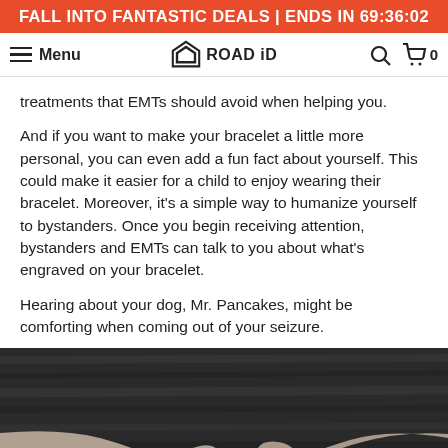FALL INTO FANTASTIC DEALS | ENDS IN 69:36:02
Menu | ROAD iD | Search | Cart 0
treatments that EMTs should avoid when helping you.
And if you want to make your bracelet a little more personal, you can even add a fun fact about yourself. This could make it easier for a child to enjoy wearing their bracelet. Moreover, it's a simple way to humanize yourself to bystanders. Once you begin receiving attention, bystanders and EMTs can talk to you about what's engraved on your bracelet.
Hearing about your dog, Mr. Pancakes, might be comforting when coming out of your seizure.
[Figure (photo): Black and white photo of two hands clasped together, one person holding the other's hand, with a purple bracelet/ribbon visible, against a dark wooden background.]